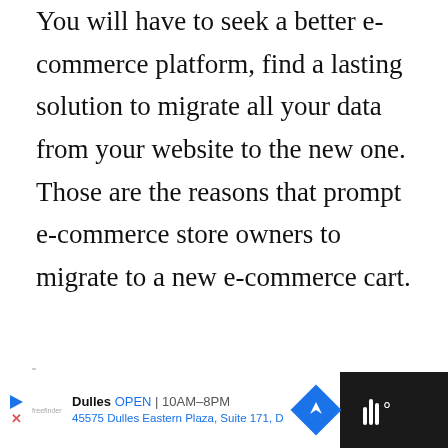You will have to seek a better e-commerce platform, find a lasting solution to migrate all your data from your website to the new one. Those are the reasons that prompt e-commerce store owners to migrate to a new e-commerce cart.
One day your store's sales will increase such that the capacity of the current website won't be able to
[Figure (other): Advertisement bar at bottom: Dulles store - OPEN 10AM-8PM, 45575 Dulles Eastern Plaza, Suite 171, D — with navigation arrow icon and weather/audio widget on dark background]